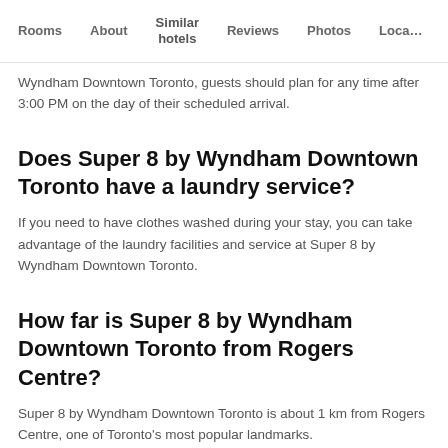Rooms   About   Similar hotels   Reviews   Photos   Loca…
Wyndham Downtown Toronto, guests should plan for any time after 3:00 PM on the day of their scheduled arrival.
Does Super 8 by Wyndham Downtown Toronto have a laundry service?
If you need to have clothes washed during your stay, you can take advantage of the laundry facilities and service at Super 8 by Wyndham Downtown Toronto.
How far is Super 8 by Wyndham Downtown Toronto from Rogers Centre?
Super 8 by Wyndham Downtown Toronto is about 1 km from Rogers Centre, one of Toronto's most popular landmarks.